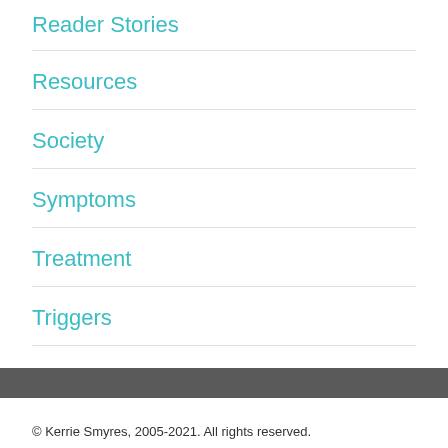Reader Stories
Resources
Society
Symptoms
Treatment
Triggers
© Kerrie Smyres, 2005-2021. All rights reserved.